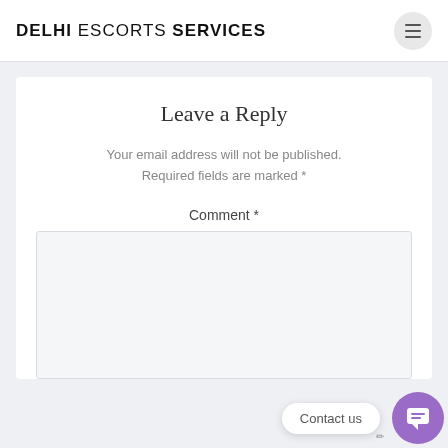DELHI ESCORTS SERVICES
Leave a Reply
Your email address will not be published. Required fields are marked *
Comment *